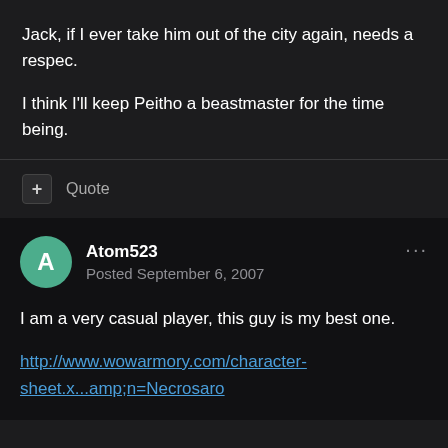Jack, if I ever take him out of the city again, needs a respec.
I think I'll keep Peitho a beastmaster for the time being.
+ Quote
Atom523
Posted September 6, 2007
I am a very casual player, this guy is my best one.
http://www.wowarmory.com/character-sheet.x...amp;n=Necrosaro